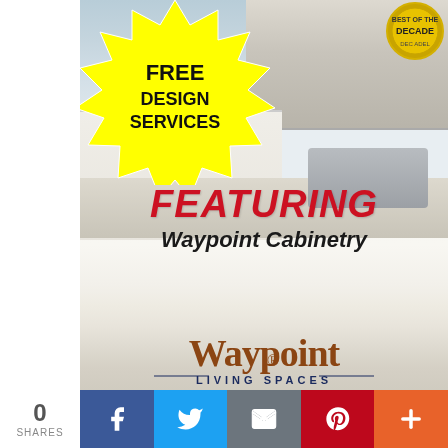[Figure (advertisement): Kitchen advertisement for Waypoint Cabinetry featuring a modern white kitchen with starburst badge saying FREE DESIGN SERVICES, text overlay FEATURING Waypoint Cabinetry, Waypoint Living Spaces logo, black call-to-action bar with CALL TODAY FOR FREE ESTIMATES and phone number 360-245-2715, and social media sharing bar at bottom with 0 SHARES]
FREE DESIGN SERVICES
FEATURING Waypoint Cabinetry
Waypoint LIVING SPACES
CALL TODAY FOR FREE ESTIMATES
360-245-2715
0 SHARES